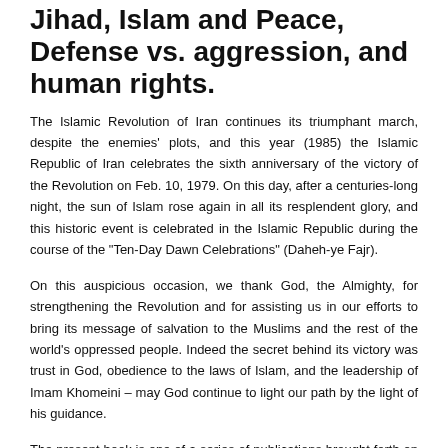Jihad, Islam and Peace, Defense vs. aggression, and human rights.
The Islamic Revolution of Iran continues its triumphant march, despite the enemies' plots, and this year (1985) the Islamic Republic of Iran celebrates the sixth anniversary of the victory of the Revolution on Feb. 10, 1979. On this day, after a centuries-long night, the sun of Islam rose again in all its resplendent glory, and this historic event is celebrated in the Islamic Republic during the course of the "Ten-Day Dawn Celebrations" (Daheh-ye Fajr).
On this auspicious occasion, we thank God, the Almighty, for strengthening the Revolution and for assisting us in our efforts to bring its message of salvation to the Muslims and the rest of the world's oppressed people. Indeed the secret behind its victory was trust in God, obedience to the laws of Islam, and the leadership of Imam Khomeini – may God continue to light our path by the light of his guidance.
The present book is one of a series of publications brought forth on the occasion of the sixth anniversary of the victory of the Islamic Revolution. We pray to God to keep us steadfast on the straight path